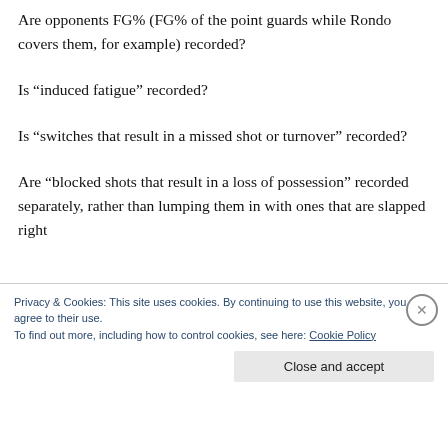Are opponents FG% (FG% of the point guards while Rondo covers them, for example) recorded?
Is “induced fatigue” recorded?
Is “switches that result in a missed shot or turnover” recorded?
Are “blocked shots that result in a loss of possession” recorded separately, rather than lumping them in with ones that are slapped right back to the shooter?
Privacy & Cookies: This site uses cookies. By continuing to use this website, you agree to their use.
To find out more, including how to control cookies, see here: Cookie Policy
Close and accept